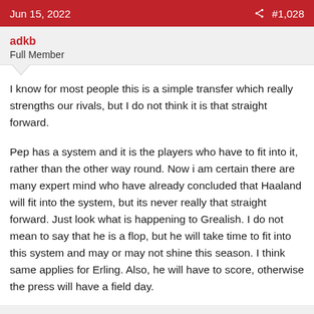Jun 15, 2022  #1,028
adkb
Full Member
I know for most people this is a simple transfer which really strengths our rivals, but I do not think it is that straight forward.
Pep has a system and it is the players who have to fit into it, rather than the other way round. Now i am certain there are many expert mind who have already concluded that Haaland will fit into the system, but its never really that straight forward. Just look what is happening to Grealish. I do not mean to say that he is a flop, but he will take time to fit into this system and may or may not shine this season. I think same applies for Erling. Also, he will have to score, otherwise the press will have a field day.